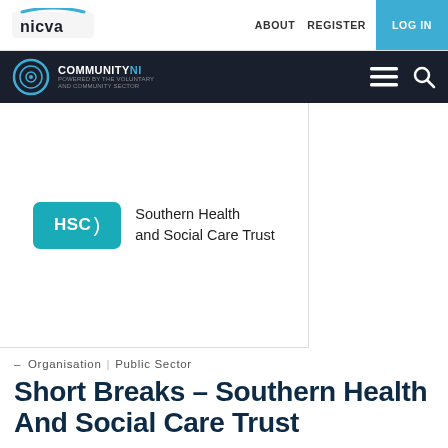nicva | ABOUT  REGISTER  LOG IN
[Figure (logo): NICVA logo in white on light background, top-left navigation bar]
[Figure (logo): CommunityNI logo on dark navigation bar]
[Figure (logo): HSC Southern Health and Social Care Trust logo]
– Organisation | Public Sector
Short Breaks – Southern Health And Social Care Trust
ST LUKES HOSPITAL, LOUGHGALL ROAD, ARMAGH, BT61 7NQ,